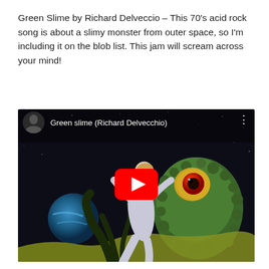Green Slime by Richard Delveccio – This 70's acid rock song is about a slimy monster from outer space, so I'm including it on the blob list. This jam will scream across your mind!
[Figure (screenshot): YouTube video embed thumbnail showing a sci-fi/horror movie artwork of a woman in a silver spacesuit being grabbed by a green alien tentacle monster with one large eye. A planet is visible in the dark space background. The video title reads 'Green slime (Richard Delvecchio)' with a YouTube play button overlay and a small circular avatar of a person in the upper left.]